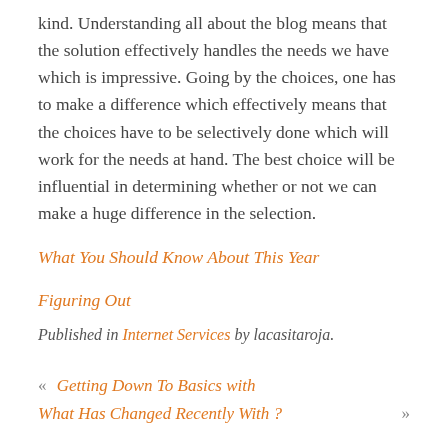kind. Understanding all about the blog means that the solution effectively handles the needs we have which is impressive. Going by the choices, one has to make a difference which effectively means that the choices have to be selectively done which will work for the needs at hand. The best choice will be influential in determining whether or not we can make a huge difference in the selection.
What You Should Know About This Year
Figuring Out
Published in Internet Services by lacasitaroja.
« Getting Down To Basics with
What Has Changed Recently With ? »